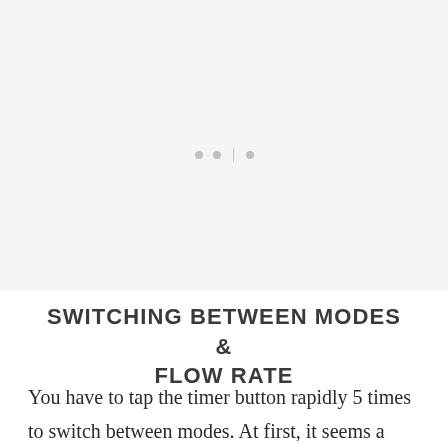[Figure (other): Light gray placeholder image area with three dots/marks centered in the middle, suggesting a loading or image placeholder region.]
SWITCHING BETWEEN MODES & FLOW RATE
You have to tap the timer button rapidly 5 times to switch between modes. At first, it seems a